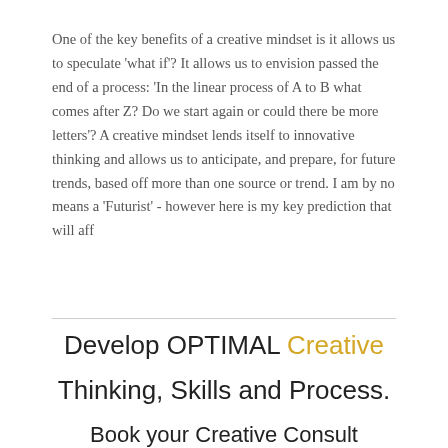One of the key benefits of a creative mindset is it allows us to speculate 'what if'? It allows us to envision passed the end of a process: 'In the linear process of A to B what comes after Z? Do we start again or could there be more letters'? A creative mindset lends itself to innovative thinking and allows us to anticipate, and prepare, for future trends, based off more than one source or trend. I am by no means a 'Futurist' - however here is my key prediction that will aff
Develop OPTIMAL Creative Thinking, Skills and Process.
Book your Creative Consult